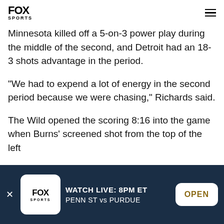FOX SPORTS
Minnesota killed off a 5-on-3 power play during the middle of the second, and Detroit had an 18-3 shots advantage in the period.
"We had to expend a lot of energy in the second period because we were chasing," Richards said.
The Wild opened the scoring 8:16 into the game when Burns' screened shot from the top of the left
[Figure (other): FOX Sports app advertisement banner with dark navy background showing FOX Sports logo, 'WATCH LIVE: 8PM ET' text, 'PENN ST vs PURDUE' matchup, and OPEN button]